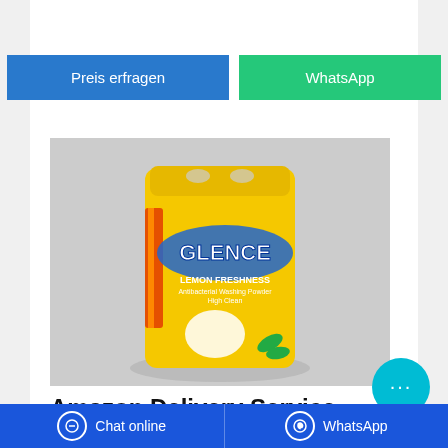Preis erfragen
WhatsApp
[Figure (photo): Yellow bag of Glence Lemon Freshness washing powder detergent on a gray background]
Amazon Delivery Service Partner Program
The Amazon advantage. Start your business with as little as ₹1.5 Lakhs, total of ₹6-8 Lakhs in liquid assets required. Use our technology, processes, and more than 20 years of
Chat online
WhatsApp